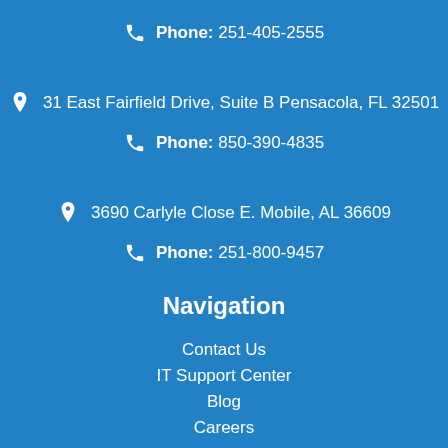Phone: 251-405-2555
31 East Fairfield Drive, Suite B Pensacola, FL 32501
Phone: 850-390-4835
3690 Carlyle Close E. Mobile, AL 36609
Phone: 251-800-9457
Navigation
Contact Us
IT Support Center
Blog
Careers